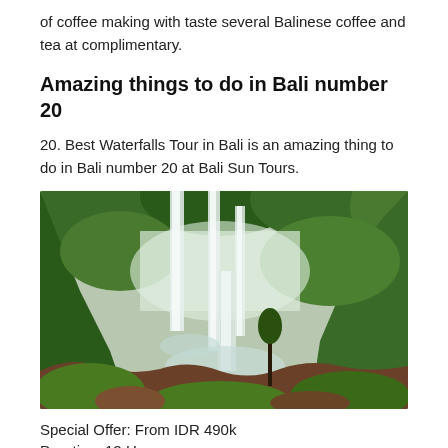of coffee making with taste several Balinese coffee and tea at complimentary.
Amazing things to do in Bali number 20
20. Best Waterfalls Tour in Bali is an amazing thing to do in Bali number 20 at Bali Sun Tours.
[Figure (photo): A lush tropical waterfall scene in Bali showing multiple tall waterfalls cascading down steep green cliffs surrounded by dense tropical vegetation.]
Special Offer: From IDR 490k
Duration: 12 Hours